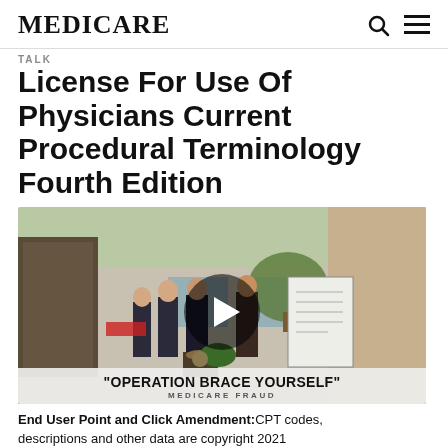MEDICARE
License For Use Of Physicians Current Procedural Terminology Fourth Edition
[Figure (photo): Video thumbnail showing a press conference outside a building with several men in suits standing at a podium. A play button icon is centered on the image. At the bottom, a banner reads "OPERATION BRACE YOURSELF" with subtitle "MEDICARE FRAUD".]
End User Point and Click Amendment: CPT codes, descriptions and other data are copyright 2021